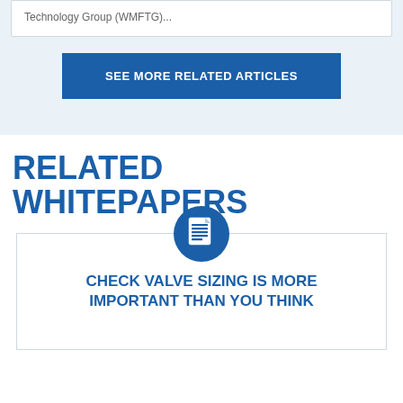Technology Group (WMFTG)...
SEE MORE RELATED ARTICLES
RELATED WHITEPAPERS
[Figure (illustration): Document icon inside a dark blue circle]
CHECK VALVE SIZING IS MORE IMPORTANT THAN YOU THINK